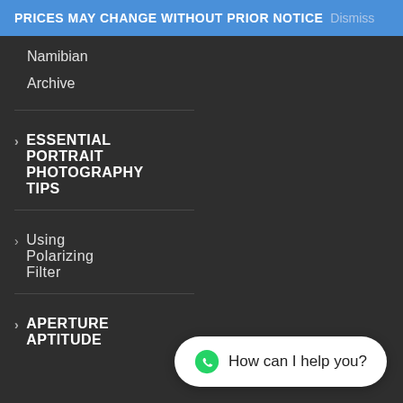PRICES MAY CHANGE WITHOUT PRIOR NOTICE Dismiss
Namibian
Archive
> ESSENTIAL PORTRAIT PHOTOGRAPHY TIPS
> Using Polarizing Filter
> APERTURE APTITUDE
[Figure (screenshot): WhatsApp chat widget with text 'How can I help you?']